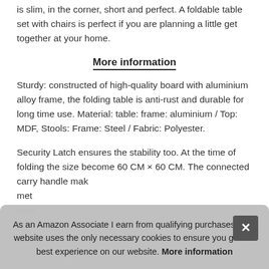is slim, in the corner, short and perfect. A foldable table set with chairs is perfect if you are planning a little get together at your home.
More information
Sturdy: constructed of high-quality board with aluminium alloy frame, the folding table is anti-rust and durable for long time use. Material: table: frame: aluminium / Top: MDF, Stools: Frame: Steel / Fabric: Polyester.
Security Latch ensures the stability too. At the time of folding the size become 60 CM × 60 CM. The connected carry handle mak... met... outc... this... pos...
As an Amazon Associate I earn from qualifying purchases. This website uses the only necessary cookies to ensure you get the best experience on our website. More information